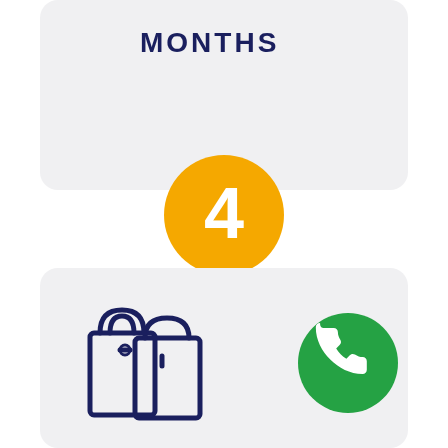[Figure (infographic): Top card with rounded corners on light gray background showing text MONTHS in dark navy uppercase letters]
[Figure (infographic): Orange circle with white number 4 in the center, positioned between the two cards]
[Figure (infographic): Bottom card with rounded corners on light gray background containing a dark navy shopping bags icon on the left and a green WhatsApp phone icon on the right]